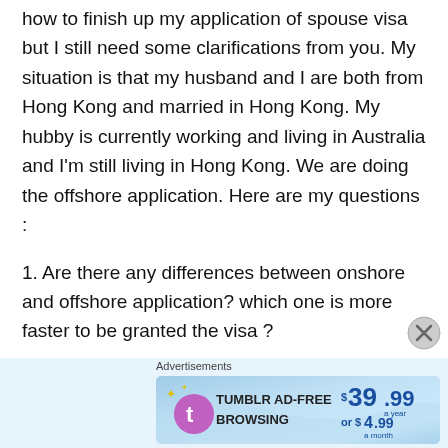how to finish up my application of spouse visa but I still need some clarifications from you. My situation is that my husband and I are both from Hong Kong and married in Hong Kong. My hubby is currently working and living in Australia and I'm still living in Hong Kong. We are doing the offshore application. Here are my questions :
1. Are there any differences between onshore and offshore application? which one is more faster to be granted the visa ?
2. As for the applicant , I need to complete the 47SP, Form 888, Statement of History of relationship. Besides the above stuff, do I still
Advertisements
[Figure (screenshot): Tumblr Ad-Free Browsing advertisement banner: $39.99 a year or $4.99 a month]